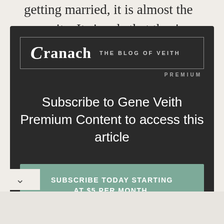getting married, it is almost the opposite. It signals that they're
[Figure (screenshot): Cranach: The Blog of Veith logo banner with dark background and border]
PREMIUM
Subscribe to Gene Veith Premium Content to access this article
SUBSCRIBE TODAY STARTING AT $5 PER MONTH.